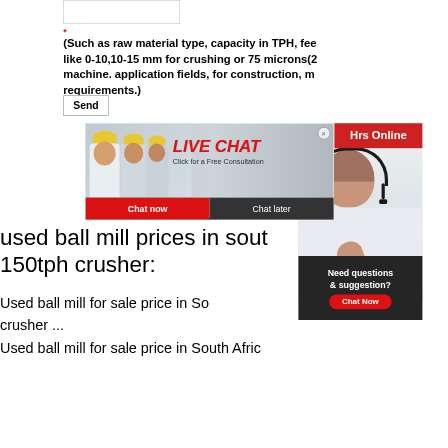(Such as raw material type, capacity in TPH, fee like 0-10,10-15 mm for crushing or 75 microns(2 machine. application fields, for construction, m requirements.)
Send
[Figure (screenshot): Live chat popup overlay showing workers in yellow hard hats, 'LIVE CHAT' in red italic text, 'Click for a Free Consultation', Chat now and Chat later buttons]
[Figure (screenshot): Right panel showing customer service agent with headset, 'Hrs Online' red badge, 'Need questions & suggestion?' dark panel with red Chat Now button]
used ball mill prices in south 150tph crusher:
Used ball mill for sale price in South Africa crusher ...
Used ball mill for sale price in South Afric